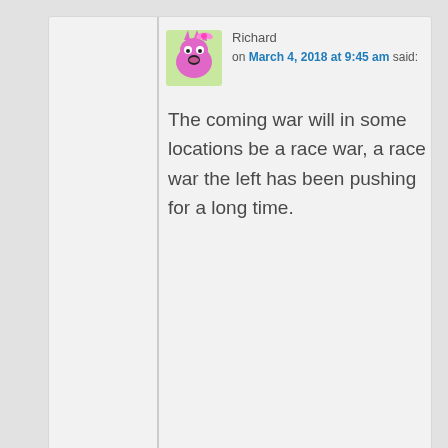Richard
on March 4, 2018 at 9:45 am said:
The coming war will in some locations be a race war, a race war the left has been pushing for a long time.
Reply ↓
[Figure (illustration): Pink monster avatar for user Richard]
Rita on March 3, 2018 at 7:20 pm said:
#5:
[Figure (illustration): Purple cool face avatar for user Rita]